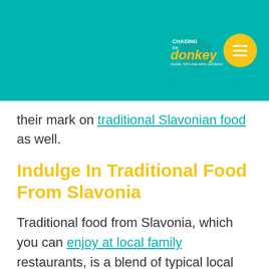[Figure (logo): Chasing the Donkey travel blog logo with donkey illustration on teal header background, with yellow circular menu button]
their mark on traditional Slavonian food as well.
Indulge In Traditional Food From Slavonia
Traditional food from Slavonia, which you can enjoy at local family restaurants, is a blend of typical local dishes and past foreign influences. The most significant foreign cultures to influence Slavonia food